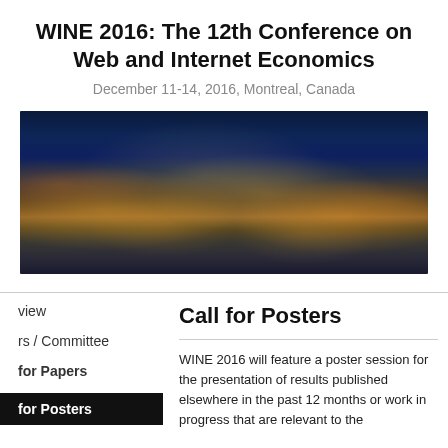WINE 2016: The 12th Conference on Web and Internet Economics
December 11-14, 2016, Montreal, Canada
[Figure (photo): Nighttime aerial panoramic photo of Montreal city skyline with illuminated buildings and blue night sky]
view
rs / Committee
for Papers
for Posters
Call for Posters
WINE 2016 will feature a poster session for the presentation of results published elsewhere in the past 12 months or work in progress that are relevant to the